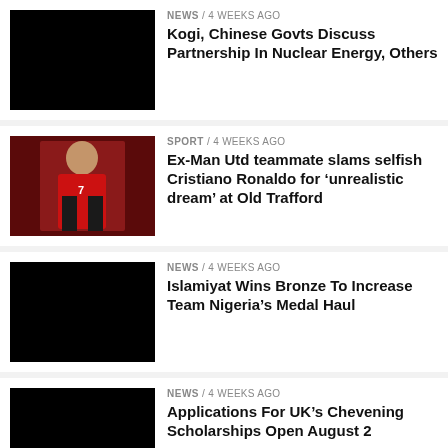[Figure (photo): Black thumbnail image for Kogi nuclear energy news]
NEWS / 4 weeks ago
Kogi, Chinese Govts Discuss Partnership In Nuclear Energy, Others
[Figure (photo): Photo of Cristiano Ronaldo in Manchester United red jersey with number 7]
SPORT / 4 weeks ago
Ex-Man Utd teammate slams selfish Cristiano Ronaldo for ‘unrealistic dream’ at Old Trafford
[Figure (photo): Black thumbnail image for Islamiyat news]
NEWS / 4 weeks ago
Islamiyat Wins Bronze To Increase Team Nigeria’s Medal Haul
[Figure (photo): Black thumbnail image for Chevening scholarships news]
NEWS / 4 weeks ago
Applications For UK’s Chevening Scholarships Open August 2
[Figure (photo): Leadership newspaper logo thumbnail]
NEWS / 4 weeks ago
Pantami Kicks Against 5% Excise Duty On